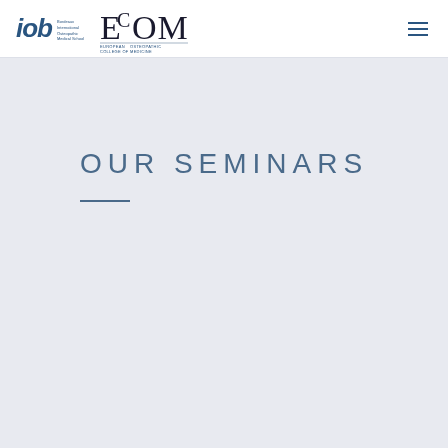IOB Bordeaux International Osteopathic Medical School | ECOM European College of Osteopathic Medicine
OUR SEMINARS